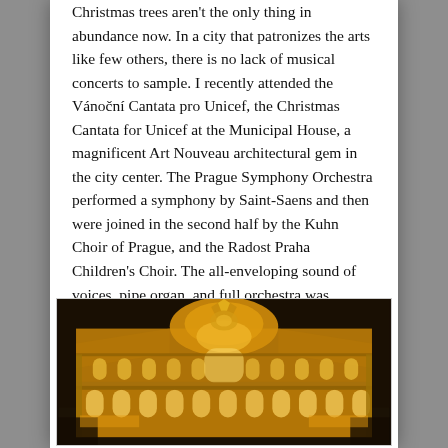Christmas trees aren't the only thing in abundance now. In a city that patronizes the arts like few others, there is no lack of musical concerts to sample. I recently attended the Vánoční Cantata pro Unicef, the Christmas Cantata for Unicef at the Municipal House, a magnificent Art Nouveau architectural gem in the city center. The Prague Symphony Orchestra performed a symphony by Saint-Saens and then were joined in the second half by the Kuhn Choir of Prague, and the Radost Praha Children's Choir. The all-enveloping sound of voices, pipe organ, and full orchestra was exhilarating in the perfect setting of Smetana Hall.
[Figure (photo): Nighttime photo of the Municipal House (Obecní dům) in Prague, an ornate Art Nouveau building illuminated in golden/yellow light against a dark sky, viewed from a low angle looking upward.]